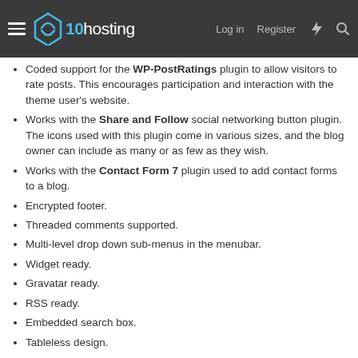x10hosting — Log in  Register
Coded support for the WP-PostRatings plugin to allow visitors to rate posts. This encourages participation and interaction with the theme user's website.
Works with the Share and Follow social networking button plugin. The icons used with this plugin come in various sizes, and the blog owner can include as many or as few as they wish.
Works with the Contact Form 7 plugin used to add contact forms to a blog.
Encrypted footer.
Threaded comments supported.
Multi-level drop down sub-menus in the menubar.
Widget ready.
Gravatar ready.
RSS ready.
Embedded search box.
Tableless design.
Valid CSS and XHTML code.
Compatible with major browsers.
Compatible with the latest Word...